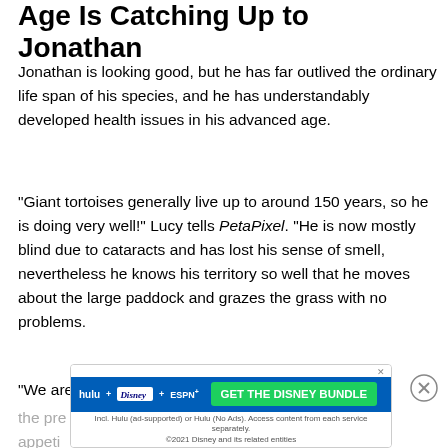Age Is Catching Up to Jonathan
Jonathan is looking good, but he has far outlived the ordinary life span of his species, and he has understandably developed health issues in his advanced age.
“Giant tortoises generally live up to around 150 years, so he is doing very well!” Lucy tells PetaPixel. “He is now mostly blind due to cataracts and has lost his sense of smell, nevertheless he knows his territory so well that he moves about the large paddock and grazes the grass with no problems.
“We are pretty sure that he knows the sound or feels the pre… …ood appeti…
[Figure (other): Advertisement banner for Disney Bundle featuring Hulu, Disney+, and ESPN+ logos with a green GET THE DISNEY BUNDLE call-to-action button on a blue background.]